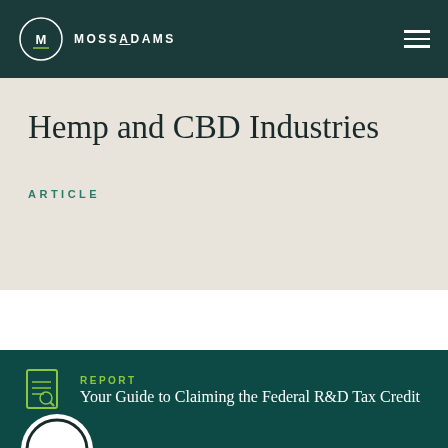MOSSADAMS
Hemp and CBD Industries
ARTICLE
[Figure (illustration): Document/report icon in green outline style]
REPORT
Your Guide to Claiming the Federal R&D Tax Credit